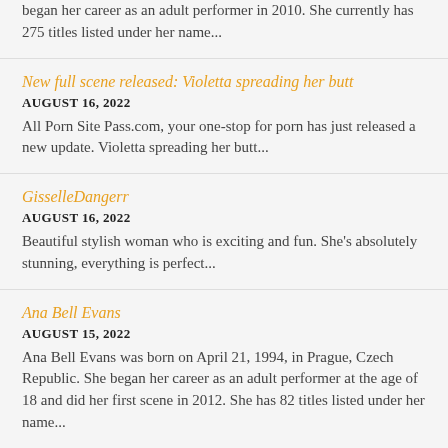began her career as an adult performer in 2010. She currently has 275 titles listed under her name...
New full scene released: Violetta spreading her butt
AUGUST 16, 2022
All Porn Site Pass.com, your one-stop for porn has just released a new update. Violetta spreading her butt...
GisselleDangerr
AUGUST 16, 2022
Beautiful stylish woman who is exciting and fun. She's absolutely stunning, everything is perfect...
Ana Bell Evans
AUGUST 15, 2022
Ana Bell Evans was born on April 21, 1994, in Prague, Czech Republic. She began her career as an adult performer at the age of 18 and did her first scene in 2012. She has 82 titles listed under her name...